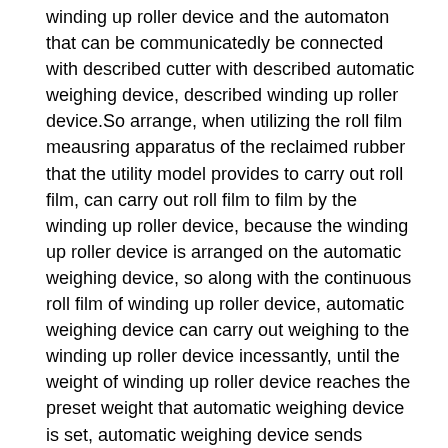winding up roller device and the automaton that can be communicatedly be connected with described cutter with described automatic weighing device, described winding up roller device.So arrange, when utilizing the roll film meausring apparatus of the reclaimed rubber that the utility model provides to carry out roll film, can carry out roll film to film by the winding up roller device, because the winding up roller device is arranged on the automatic weighing device, so along with the continuous roll film of winding up roller device, automatic weighing device can carry out weighing to the winding up roller device incessantly, until the weight of winding up roller device reaches the preset weight that automatic weighing device is set, automatic weighing device sends weight information up to standard to automaton, automaton control winding up roller device stops roll film, and control cutter film is cut off, the staff takes off the film of spooling from the winding up roller device and gets final product.Obviously, the roll film meausring apparatus of the reclaimed rubber that the utility model provides with respect to prior art, effectively reduces hand labor intensity, and Effective Raise production efficiency.